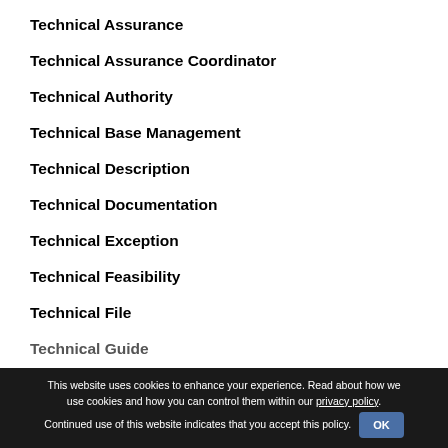Technical Assurance
Technical Assurance Coordinator
Technical Authority
Technical Base Management
Technical Description
Technical Documentation
Technical Exception
Technical Feasibility
Technical File
Technical Guide
This website uses cookies to enhance your experience. Read about how we use cookies and how you can control them within our privacy policy. Continued use of this website indicates that you accept this policy.